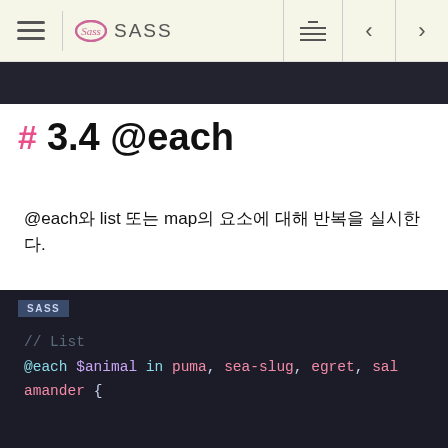SASS
# 3.4 @each
@each와 list 또는 map의 요소에 대해 반복을 실시한다.
[Figure (screenshot): SASS code block showing @each loop with list: // List  @each $animal in puma, sea-slug, egret, salamander { .#{$animal}-icon { background-image: url('/images/#{$anima]